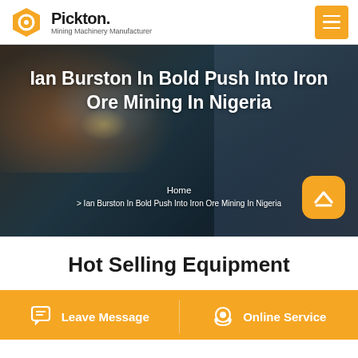Pickton. Mining Machinery Manufacturer
[Figure (screenshot): Hero banner with welding/mining background image showing worker with welding equipment, teal and brown tones]
Ian Burston In Bold Push Into Iron Ore Mining In Nigeria
Home > Ian Burston In Bold Push Into Iron Ore Mining In Nigeria
Hot Selling Equipment
Leave Message | Online Service